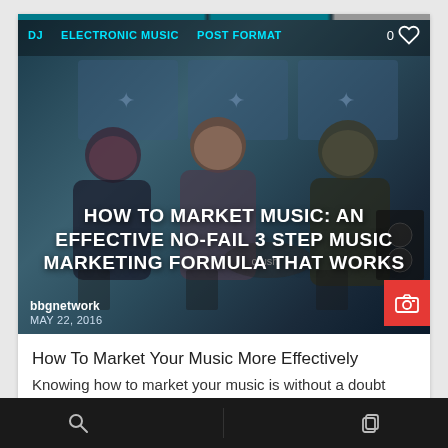DJ   ELECTRONIC MUSIC   POST FORMAT
[Figure (photo): Three people sitting on stools at a music industry panel event. Photo overlaid with bold title text about music marketing. Author 'bbgnetwork' and date 'MAY 22, 2016' shown at bottom left. Red camera icon at bottom right.]
HOW TO MARKET MUSIC: AN EFFECTIVE NO-FAIL 3 STEP MUSIC MARKETING FORMULA THAT WORKS
How To Market Your Music More Effectively Knowing how to market your music is without a doubt THE most important thing you can do for